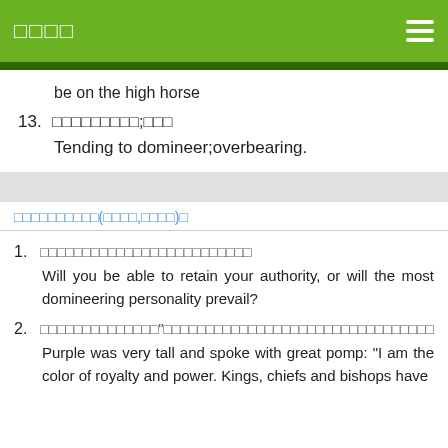□□□□
be on the high horse
13. □□□□□□□□□;□□□
Tending to domineer;overbearing.
□□□□□□□□□□(□□□□,□□□□)□
1. □□□□□□□□□□□□□□□□□□□□□□□
Will you be able to retain your authority, or will the most domineering personality prevail?
2. □□□□□□□□□□□□□"□□□□□□□□□□□□□□□□□□□□□□□□□□□□
Purple was very tall and spoke with great pomp: "I am the color of royalty and power. Kings, chiefs and bishops have